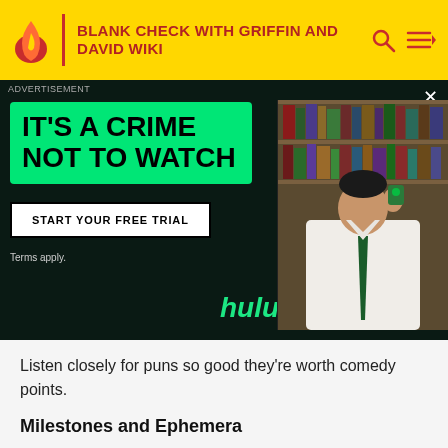BLANK CHECK WITH GRIFFIN AND DAVID WIKI
[Figure (screenshot): Hulu advertisement banner with dark green background. Left side shows bold white/black text 'IT'S A CRIME NOT TO WATCH' in a green box, a 'START YOUR FREE TRIAL' button, 'Terms apply.' text, and 'hulu' logo in green. Right side shows a photo of a young man in white shirt and green tie holding something up, in front of bookshelves.]
Listen closely for puns so good they're worth comedy points.
Milestones and Ephemera
Pre-abandoned nickname for Ben: Doctor Crunchy
Nature's Internet: trees
Merchandise Spotlight!
K-Stew: the best in the biz